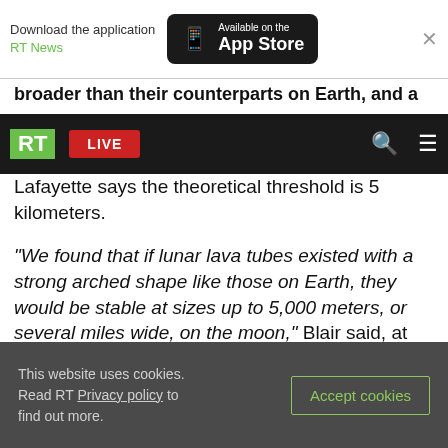Download the application RT News — Available on the App Store
broader than their counterparts on Earth, and a
RT LIVE
Lafayette says the theoretical threshold is 5 kilometers.
"We found that if lunar lava tubes existed with a strong arched shape like those on Earth, they would be stable at sizes up to 5,000 meters, or several miles wide, on the moon," Blair said, at the 46th Lunar and Planetary Science Conference (LPSC) in Texas.
"This wouldn't be possible on Earth, but gravity is
This website uses cookies. Read RT Privacy policy to find out more. Accept cookies